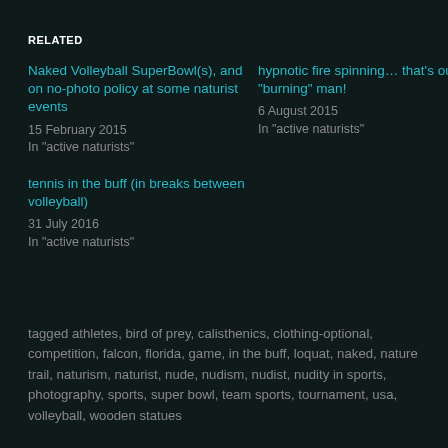RELATED
Naked Volleyball SuperBowl(s), and on no-photo policy at some naturist events
15 February 2015
In "active naturists"
hypnotic fire spinning… that's our "burning" man!
6 August 2015
In "active naturists"
tennis in the buff (in breaks between volleyball)
31 July 2016
In "active naturists"
tagged athletes, bird of prey, calisthenics, clothing-optional, competition, falcon, florida, game, in the buff, loquat, naked, nature trail, naturism, naturist, nude, nudism, nudist, nudity in sports, photography, sports, super bowl, team sports, tournament, usa, volleyball, wooden statues